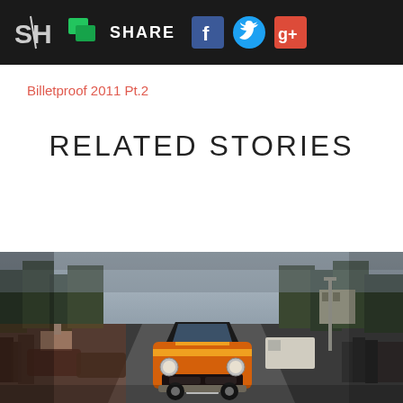SH | SHARE | Facebook | Twitter | Google+
Billetproof 2011 Pt.2
RELATED STORIES
[Figure (photo): A classic orange muscle car (Dodge Challenger) driving down a road at a car show event, with spectators on both sides, trees in background, overcast sky.]